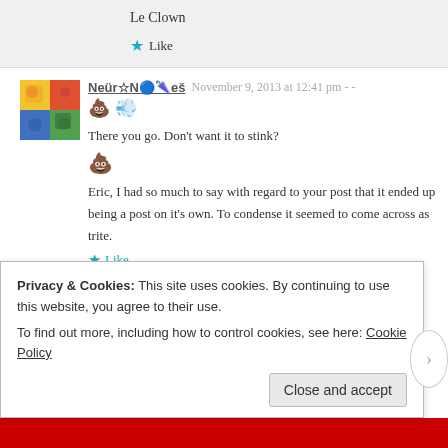Le Clown
★ Like
Neür☆N🔵🌂eš — November 9, 2013 at 12:41 pm
💩 💨
There you go. Don't want it to stink?
💩
Eric, I had so much to say with regard to your post that it ended up being a post on it's own. To condense it seemed to come across as trite.
★ Like
Privacy & Cookies: This site uses cookies. By continuing to use this website, you agree to their use.
To find out more, including how to control cookies, see here: Cookie Policy
Close and accept